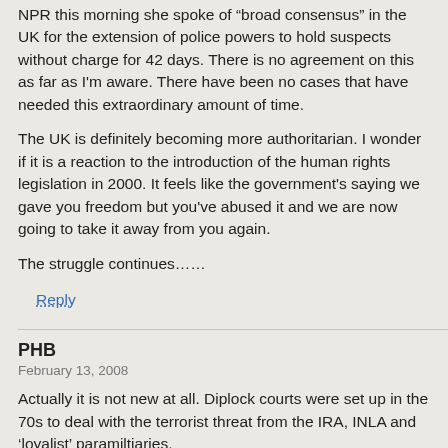NPR this morning she spoke of “broad consensus” in the UK for the extension of police powers to hold suspects without charge for 42 days. There is no agreement on this as far as I'm aware. There have been no cases that have needed this extraordinary amount of time.
The UK is definitely becoming more authoritarian. I wonder if it is a reaction to the introduction of the human rights legislation in 2000. It feels like the government's saying we gave you freedom but you've abused it and we are now going to take it away from you again.
The struggle continues……
Reply
PHB
February 13, 2008
Actually it is not new at all. Diplock courts were set up in the 70s to deal with the terrorist threat from the IRA, INLA and ‘loyalist’ paramiltiaries.